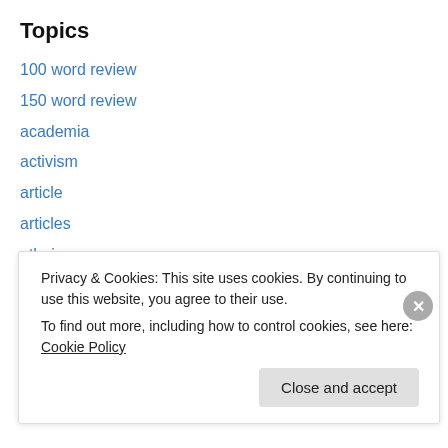Topics
100 word review
150 word review
academia
activism
article
articles
atheism
blogging
cartoons
causes
celebs
Privacy & Cookies: This site uses cookies. By continuing to use this website, you agree to their use.
To find out more, including how to control cookies, see here: Cookie Policy
Close and accept